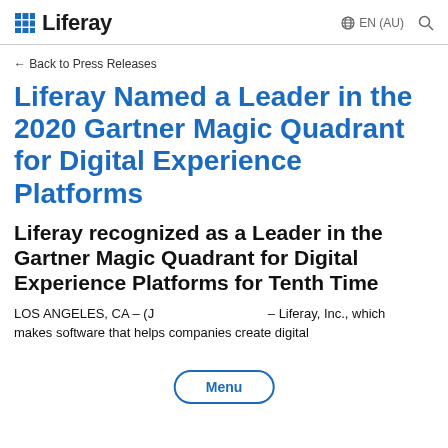Liferay | EN (AU)
← Back to Press Releases
Liferay Named a Leader in the 2020 Gartner Magic Quadrant for Digital Experience Platforms
Liferay recognized as a Leader in the Gartner Magic Quadrant for Digital Experience Platforms for Tenth Time
LOS ANGELES, CA – (J... – Liferay, Inc., which makes software that helps companies create digital